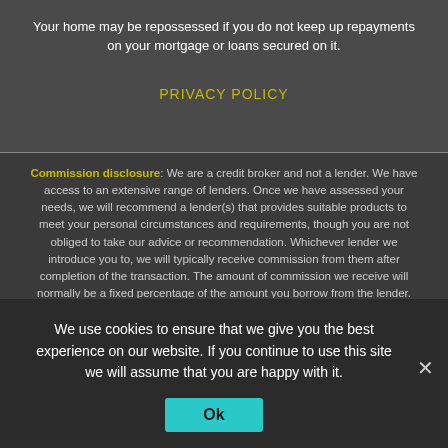Your home may be repossessed if you do not keep up repayments on your mortgage or loans secured on it.
PRIVACY POLICY
Commission disclosure: We are a credit broker and not a lender. We have access to an extensive range of lenders. Once we have assessed your needs, we will recommend a lender(s) that provides suitable products to meet your personal circumstances and requirements, though you are not obliged to take our advice or recommendation. Whichever lender we introduce you to, we will typically receive commission from them after completion of the transaction. The amount of commission we receive will normally be a fixed percentage of the amount you borrow from the lender. Commission paid to us may vary in amount depending on the lender and product. The lenders we work with pay commission at different rates. However, the amount of commission
We use cookies to ensure that we give you the best experience on our website. If you continue to use this site we will assume that you are happy with it.